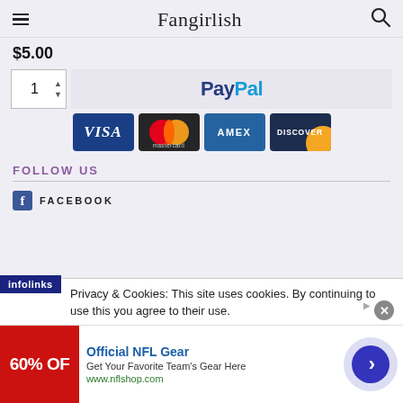Fangirlish
$5.00
[Figure (screenshot): Payment section showing quantity selector with value 1 and up/down arrows, PayPal button, and credit card logos: VISA, Mastercard, AMEX, DISCOVER]
FOLLOW US
FACEBOOK
Privacy & Cookies: This site uses cookies. By continuing to use this you agree to their use.
[Figure (screenshot): Advertisement banner: Official NFL Gear - Get Your Favorite Team's Gear Here - www.nflshop.com - with 60% OFF red image and navigation arrow, infolinks badge overlay]